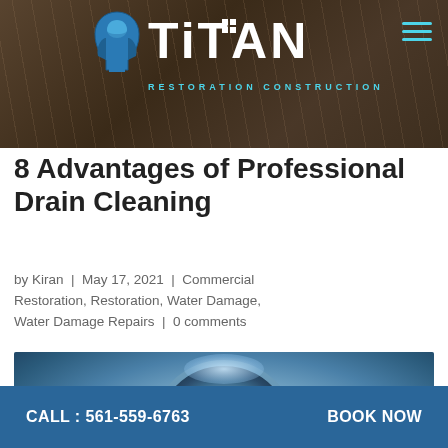Titan Restoration Construction
8 Advantages of Professional Drain Cleaning
by Kiran | May 17, 2021 | Commercial Restoration, Restoration, Water Damage, Water Damage Repairs | 0 comments
[Figure (photo): Photo of a drain with water swirling, overlaid with dark blue banner text reading '8 ADVANTAGES OF PROFESSIONAL DRAIN CLEANING']
CALL : 561-559-6763   BOOK NOW